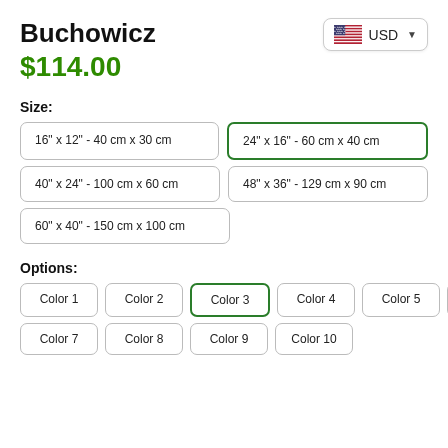Buchowicz
$114.00
USD
Size:
16" x 12" - 40 cm x 30 cm
24" x 16" - 60 cm x 40 cm
40" x 24" - 100 cm x 60 cm
48" x 36" - 129 cm x 90 cm
60" x 40" - 150 cm x 100 cm
Options:
Color 1
Color 2
Color 3
Color 4
Color 5
Color 6
Color 7
Color 8
Color 9
Color 10